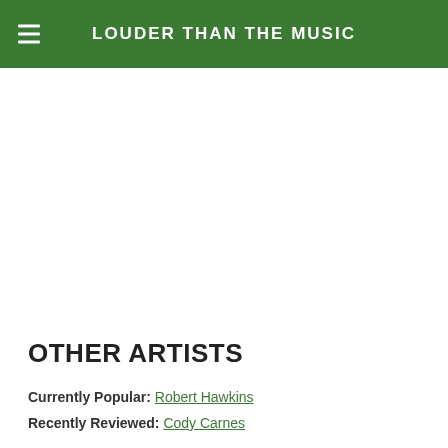LOUDER THAN THE MUSIC
OTHER ARTISTS
Currently Popular: Robert Hawkins
Recently Reviewed: Cody Carnes